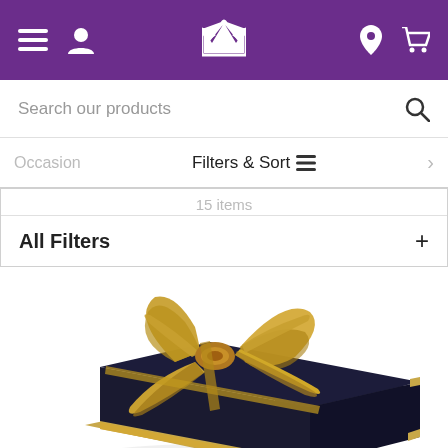Navigation bar with menu, account, crown logo, location, and cart icons
Search our products
Occasion  Filters & Sort  >
15 items
All Filters  +
[Figure (photo): A dark navy blue gift box with a large gold satin bow on top, with gold trim on the edges of the box, photographed on a white background.]